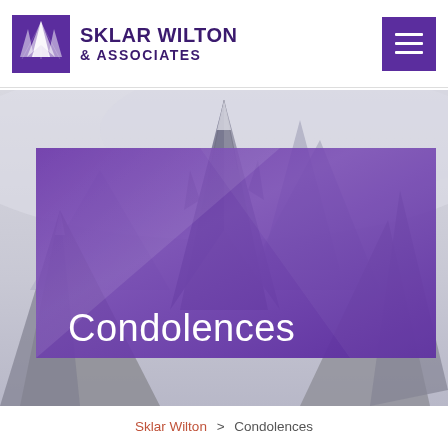[Figure (logo): Sklar Wilton & Associates logo with mountain/peaks icon in purple square and bold purple text]
[Figure (illustration): Hamburger menu button (three white lines on purple square background) in top right corner]
[Figure (photo): Grayscale mountain peaks in fog background behind purple overlay card]
Condolences
Sklar Wilton > Condolences